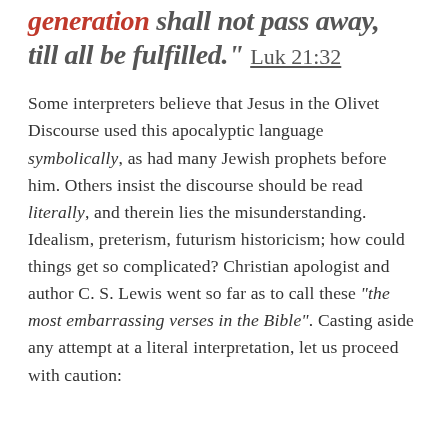generation shall not pass away, till all be fulfilled." Luk 21:32
Some interpreters believe that Jesus in the Olivet Discourse used this apocalyptic language symbolically, as had many Jewish prophets before him. Others insist the discourse should be read literally, and therein lies the misunderstanding. Idealism, preterism, futurism historicism; how could things get so complicated? Christian apologist and author C. S. Lewis went so far as to call these “the most embarrassing verses in the Bible”. Casting aside any attempt at a literal interpretation, let us proceed with caution: